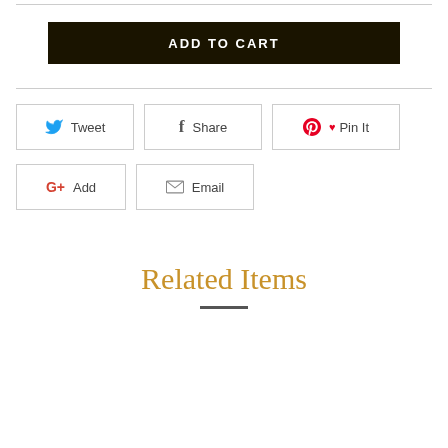ADD TO CART
[Figure (other): Social sharing buttons row 1: Tweet (Twitter), Share (Facebook), Pin It (Pinterest)]
[Figure (other): Social sharing buttons row 2: G+ Add (Google Plus), Email]
Related Items